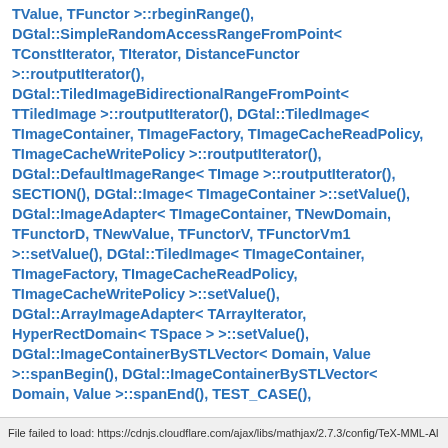TValue, TFunctor >::rbeginRange(), DGtal::SimpleRandomAccessRangeFromPoint< TConstIterator, TIterator, DistanceFunctor >::routputIterator(), DGtal::TiledImageBidirectionalRangeFromPoint< TTiledImage >::routputIterator(), DGtal::TiledImage< TImageContainer, TImageFactory, TImageCacheReadPolicy, TImageCacheWritePolicy >::routputIterator(), DGtal::DefaultImageRange< TImage >::routputIterator(), SECTION(), DGtal::Image< TImageContainer >::setValue(), DGtal::ImageAdapter< TImageContainer, TNewDomain, TFunctorD, TNewValue, TFunctorV, TFunctorVm1 >::setValue(), DGtal::TiledImage< TImageContainer, TImageFactory, TImageCacheReadPolicy, TImageCacheWritePolicy >::setValue(), DGtal::ArrayImageAdapter< TArrayIterator, HyperRectDomain< TSpace > >::setValue(), DGtal::ImageContainerBySTLVector< Domain, Value >::spanBegin(), DGtal::ImageContainerBySTLVector< Domain, Value >::spanEnd(), TEST_CASE(),
File failed to load: https://cdnjs.cloudflare.com/ajax/libs/mathjax/2.7.3/config/TeX-MML-Al